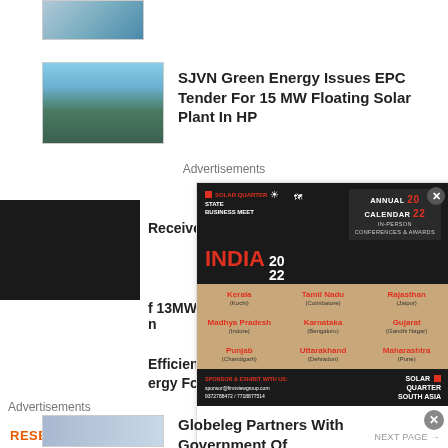[Figure (photo): Partial top image of a solar facility or industrial building]
[Figure (photo): Aerial photo of solar panels over water / floating solar plant]
SJVN Green Energy Issues EPC Tender For 15 MW Floating Solar Plant In HP
Advertisements
[Figure (photo): Black background with Reservoir Link logo in orange]
Receives
f 13MWac
n
[Figure (infographic): Solar Quarter State Business Meet India 2022 advertisement with Annual Calendar 2022, In-Person Conferences & Awards, listing Kerala (Kochi), Tamil Nadu (Coimbatore), Rajasthan (Jaipur), Madhya Pradesh (Indore), Karnataka (Bengaluru), Gujarat (Gandhi Nagar), Punjab (Chandigarh), Uttarakhand (Dehradun), Maharashtra (Pune). Sponsor contact: sponsor@firstviewgroup.com 9372788472/7718877514]
[Figure (photo): Aerial photo of solar panels on rooftop]
Efficiency
ergy For
Globeleg Partners With Government Of
Advertisements